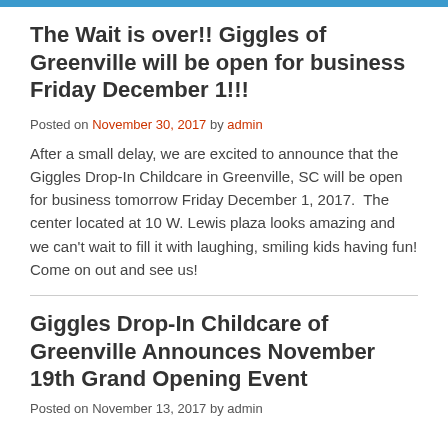The Wait is over!! Giggles of Greenville will be open for business Friday December 1!!!
Posted on November 30, 2017 by admin
After a small delay, we are excited to announce that the Giggles Drop-In Childcare in Greenville, SC will be open for business tomorrow Friday December 1, 2017.  The center located at 10 W. Lewis plaza looks amazing and we can't wait to fill it with laughing, smiling kids having fun! Come on out and see us!
Giggles Drop-In Childcare of Greenville Announces November 19th Grand Opening Event
Posted on November 13, 2017 by admin